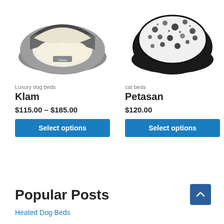[Figure (photo): Photo of a grey hooded luxury dog bed (Chewy brand), viewed from the front with cream/white sherpa interior visible]
[Figure (photo): Photo of a round black cat bed with white floral/paw print pattern on the interior cushion]
Luxury dog beds
Klam
$115.00 – $185.00
Select options
cat beds
Petasan
$120.00
Select options
Popular Posts
Heated Dog Beds